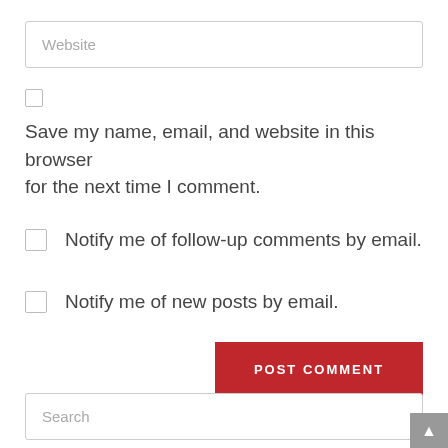Website
Save my name, email, and website in this browser for the next time I comment.
Notify me of follow-up comments by email.
Notify me of new posts by email.
POST COMMENT
Search